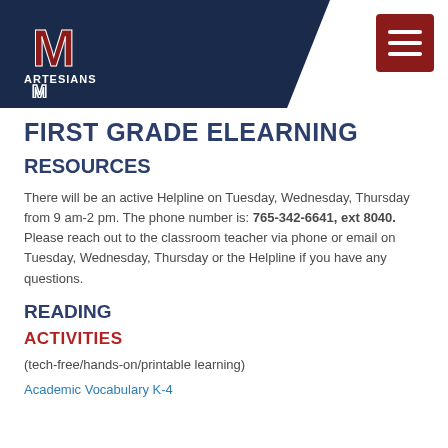[Figure (logo): Martinsville Artesians school logo with M and Artesians text on dark navy background with hamburger menu button]
FIRST GRADE ELEARNING
RESOURCES
There will be an active Helpline on Tuesday, Wednesday, Thursday from 9 am-2 pm. The phone number is: 765-342-6641, ext 8040.  Please reach out to the classroom teacher via phone or email on Tuesday, Wednesday, Thursday or the Helpline if you have any questions.
READING
ACTIVITIES
(tech-free/hands-on/printable learning)
Academic Vocabulary K-4